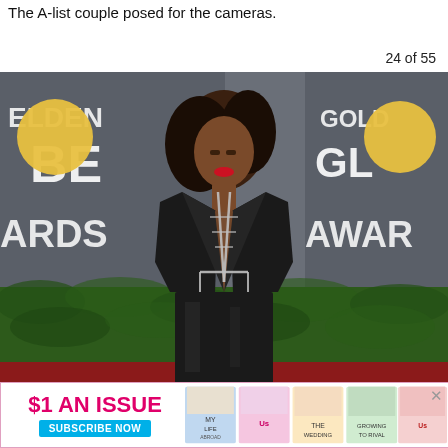The A-list couple posed for the cameras.
24 of 55
[Figure (photo): A woman in a black blazer with a plunging neckline featuring a silver chain body harness and a black satin skirt, posing on a red carpet in front of Golden Globe Awards backdrop signage.]
[Figure (other): Advertisement banner: $1 AN ISSUE with SUBSCRIBE NOW button and Us Weekly magazine cover images.]